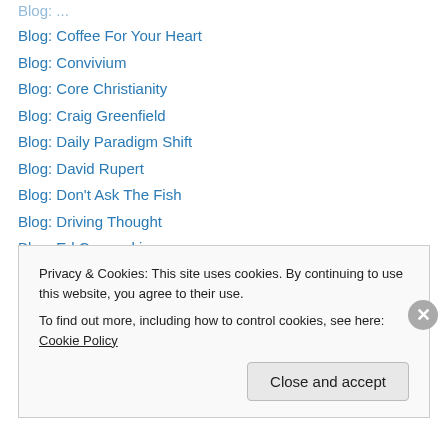Blog: Coffee For Your Heart
Blog: Convivium
Blog: Core Christianity
Blog: Craig Greenfield
Blog: Daily Paradigm Shift
Blog: David Rupert
Blog: Don't Ask The Fish
Blog: Driving Thought
Blog: Ed Cyzewski
Blog: Euangelion – Michael Bird
Blog: Experimental Theology
Blog: Facts and Trends
Blog: Faith Today
Privacy & Cookies: This site uses cookies. By continuing to use this website, you agree to their use.
To find out more, including how to control cookies, see here: Cookie Policy
Close and accept